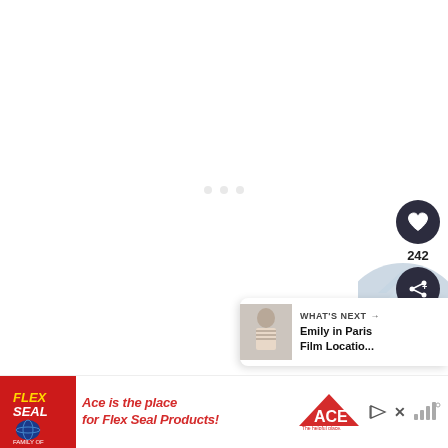[Figure (screenshot): Large white/blank content area with faint loading dots in the center]
[Figure (screenshot): UI controls on right side: dark circular heart/like button, count '242', dark circular share button with share icon]
242
[Figure (screenshot): Blue chevron/arc shape background element]
[Figure (screenshot): What's Next panel with thumbnail of person in striped top, label 'WHAT'S NEXT →', title 'Emily in Paris Film Locatio...']
WHAT'S NEXT → Emily in Paris Film Locatio...
[Figure (screenshot): Advertisement banner: Flex Seal logo on red background, 'Ace is the place for Flex Seal Products!' in red italic text, ACE Hardware logo, play/close icons on right]